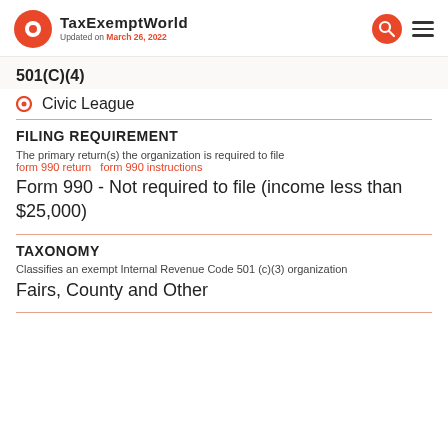TaxExemptWorld Updated on March 26, 2022
501(C)(4)
Civic League
FILING REQUIREMENT
The primary return(s) the organization is required to file
form 990 return  form 990 instructions
Form 990 - Not required to file (income less than $25,000)
TAXONOMY
Classifies an exempt Internal Revenue Code 501 (c)(3) organization
Fairs, County and Other